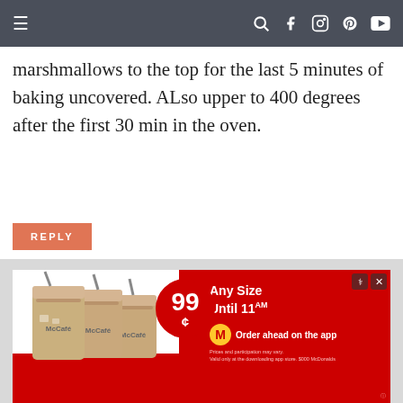Navigation bar with hamburger menu and social icons
marshmallows to the top for the last 5 minutes of baking uncovered. ALso upper to 400 degrees after the first 30 min in the oven.
REPLY
DENISE SAYS
NOVEMBER 28, 2019 AT 8:47 AM
Rosie read your recipe and loved it! These
[Figure (photo): McDonald's McCafe advertisement showing three iced coffee drinks with a 99 cent price badge and text 'Any Size Until 11AM' and 'Order ahead on the app']